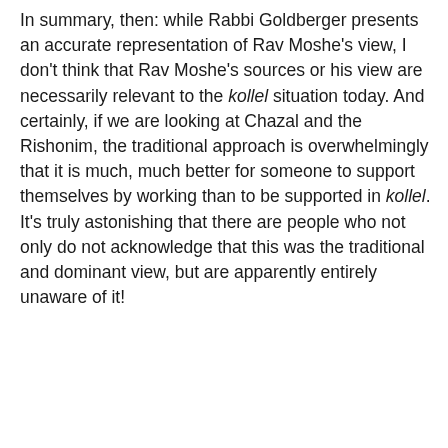In summary, then: while Rabbi Goldberger presents an accurate representation of Rav Moshe's view, I don't think that Rav Moshe's sources or his view are necessarily relevant to the kollel situation today. And certainly, if we are looking at Chazal and the Rishonim, the traditional approach is overwhelmingly that it is much, much better for someone to support themselves by working than to be supported in kollel. It's truly astonishing that there are people who not only do not acknowledge that this was the traditional and dominant view, but are apparently entirely unaware of it!
(See too my monograph on "The Economics of Torah Scholarship in Medieval Jewish Thought and Practice")
at May 06, 2013
Share
46 comments: